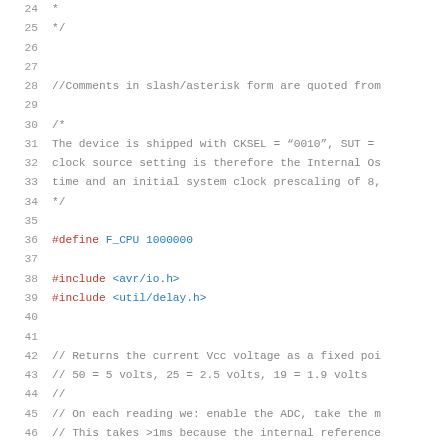Code listing lines 24-46, C source code with preprocessor directives and comments for AVR microcontroller